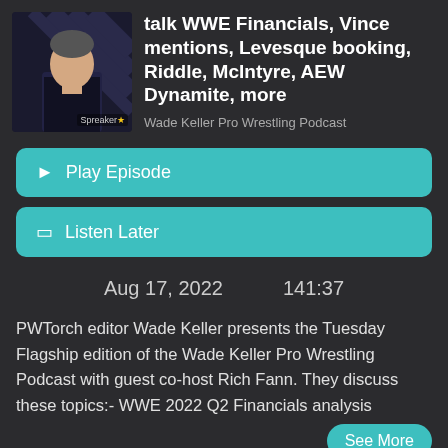[Figure (photo): Podcast thumbnail showing a man in a black shirt against a striped background, with Spreaker logo and star rating]
talk WWE Financials, Vince mentions, Levesque booking, Riddle, McIntyre, AEW Dynamite, more
Wade Keller Pro Wrestling Podcast
Play Episode
Listen Later
Aug 17, 2022   141:37
PWTorch editor Wade Keller presents the Tuesday Flagship edition of the Wade Keller Pro Wrestling Podcast with guest co-host Rich Fann. They discuss these topics:- WWE 2022 Q2 Financials analysis
See More